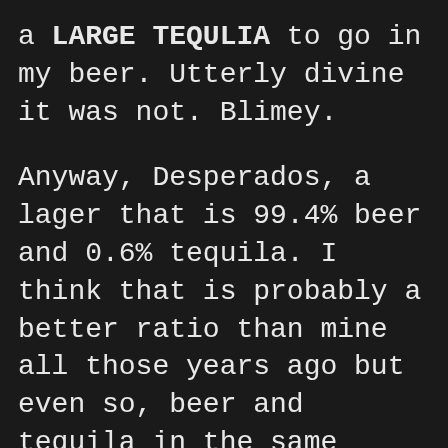a LARGE TEQULIA to go in my beer. Utterly divine it was not. Blimey.
Anyway, Desperados, a lager that is 99.4% beer and 0.6% tequila. I think that is probably a better ratio than mine all those years ago but even so, beer and tequila in the same glass? What?? However, even though the tequila element doesn't taste of tequila it does sweeten the drink and almost makes it taste like a shandy. Which, at 5.9% is a VERY dangerous thing!!